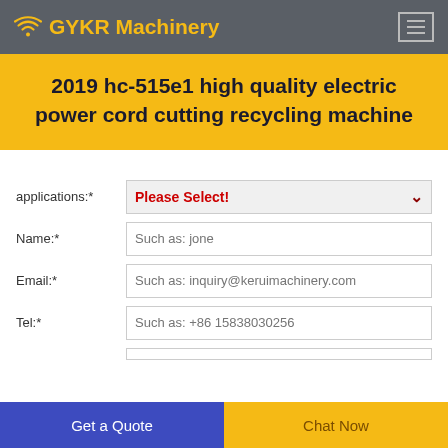GYKR Machinery
2019 hc-515e1 high quality electric power cord cutting recycling machine
applications:* Please Select!
Name:* Such as: jone
Email:* Such as: inquiry@keruimachinery.com
Tel:* Such as: +86 15838030256
Get a Quote
Chat Now